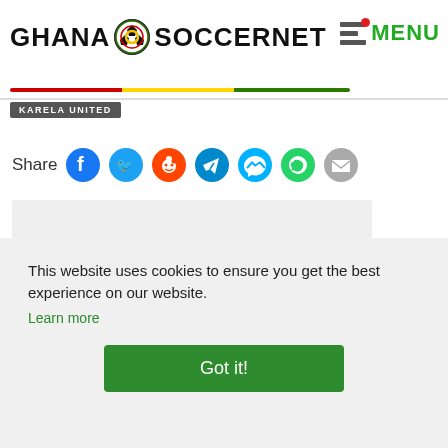GHANA SOCCERNET MENU
KARELA UNITED
Share
[Figure (screenshot): Share icons: Facebook, Twitter, Reddit, Telegram, Messenger, WhatsApp, Email]
[Figure (other): Advertisement placeholder block, light grey rectangle]
This website uses cookies to ensure you get the best experience on our website. Learn more
Got it!